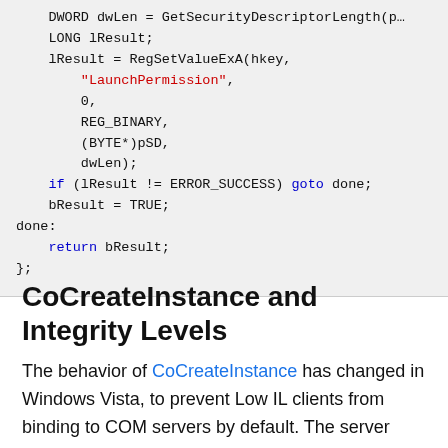[Figure (screenshot): Code block showing C++ code snippet with RegSetValueExA call, conditional goto, and return statement with syntax highlighting (blue keywords, red string literals)]
CoCreateInstance and Integrity Levels
The behavior of CoCreateInstance has changed in Windows Vista, to prevent Low IL clients from binding to COM servers by default. The server must explicitly allow